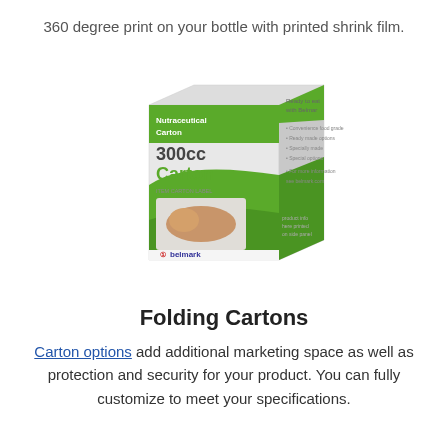360 degree print on your bottle with printed shrink film.
[Figure (photo): A product box for a Nutraceutical Carton 300cc Carton with green and white design, showing food/supplement imagery and a Belmark logo at the bottom.]
Folding Cartons
Carton options add additional marketing space as well as protection and security for your product. You can fully customize to meet your specifications.